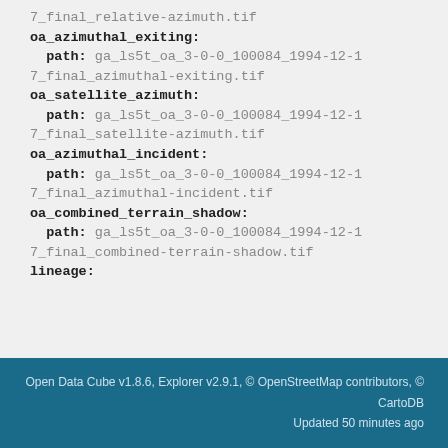7_final_relative-azimuth.tif
oa_azimuthal_exiting:
  path: ga_ls5t_oa_3-0-0_100084_1994-12-17_final_azimuthal-exiting.tif
oa_satellite_azimuth:
  path: ga_ls5t_oa_3-0-0_100084_1994-12-17_final_satellite-azimuth.tif
oa_azimuthal_incident:
  path: ga_ls5t_oa_3-0-0_100084_1994-12-17_final_azimuthal-incident.tif
oa_combined_terrain_shadow:
  path: ga_ls5t_oa_3-0-0_100084_1994-12-17_final_combined-terrain-shadow.tif
lineage:
Open Data Cube v1.8.6, Explorer v2.9.1, © OpenStreetMap contributors, © CartoDB
Updated 50 minutes ago